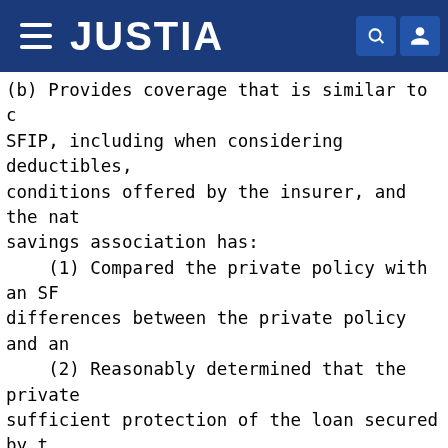JUSTIA
(b) Provides coverage that is similar to c SFIP, including when considering deductibles, conditions offered by the insurer, and the nat savings association has:
    (1) Compared the private policy with an SF differences between the private policy and an
    (2) Reasonably determined that the private sufficient protection of the loan secured by t special flood hazard area; and
    (3) Documented its findings under paragrap (2) of this section.
    (4) Exception for mutual aid societies. No requirements of paragraph (c)(3) of this secti Federal savings association may accept a priva mutual aid society in satisfaction of the floo requirement under paragraph (a) of this sectio
    (i) The OCC has determined that such types